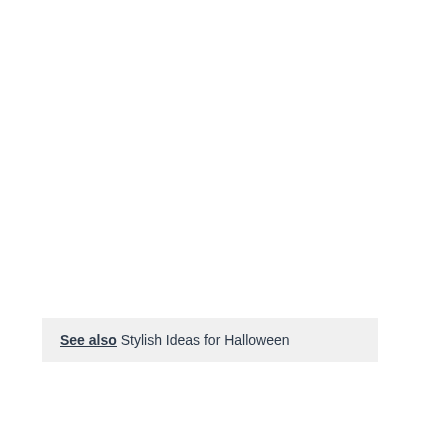See also  Stylish Ideas for Halloween